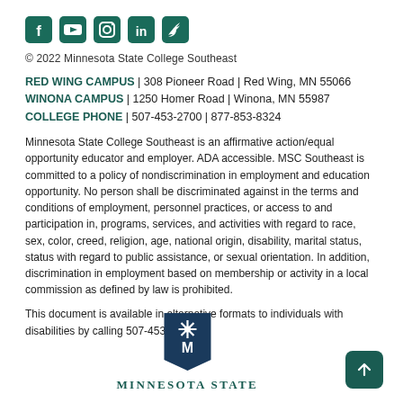[Figure (logo): Social media icons: Facebook, YouTube, Instagram, LinkedIn, Twitter in teal/green color]
© 2022 Minnesota State College Southeast
RED WING CAMPUS | 308 Pioneer Road | Red Wing, MN 55066
WINONA CAMPUS | 1250 Homer Road | Winona, MN 55987
COLLEGE PHONE | 507-453-2700 | 877-853-8324
Minnesota State College Southeast is an affirmative action/equal opportunity educator and employer. ADA accessible. MSC Southeast is committed to a policy of nondiscrimination in employment and education opportunity. No person shall be discriminated against in the terms and conditions of employment, personnel practices, or access to and participation in, programs, services, and activities with regard to race, sex, color, creed, religion, age, national origin, disability, marital status, status with regard to public assistance, or sexual orientation. In addition, discrimination in employment based on membership or activity in a local commission as defined by law is prohibited.
This document is available in alternative formats to individuals with disabilities by calling 507-453-2700.
[Figure (logo): Minnesota State logo: dark teal pennant/shield with asterisk star and M letter, with text MINNESOTA STATE below]